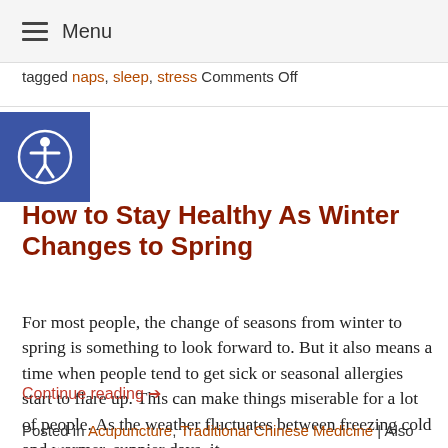Menu
tagged naps, sleep, stress Comments Off
How to Stay Healthy As Winter Changes to Spring
For most people, the change of seasons from winter to spring is something to look forward to. But it also means a time when people tend to get sick or seasonal allergies start to flare up. This can make things miserable for a lot of people. As the weather fluctuates between freezing cold and warmer, sunnier days, it
Continue reading →
Posted in Acupuncture, Traditional Chinese Medicine | Also